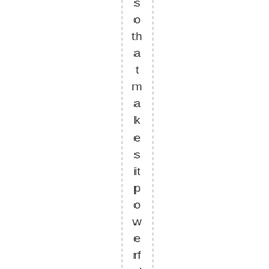s o th a t m a k e s it p o w e rf ul e r